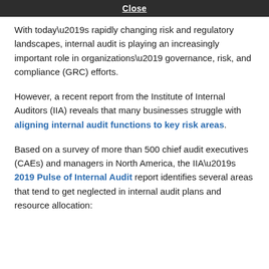Close
With today’s rapidly changing risk and regulatory landscapes, internal audit is playing an increasingly important role in organizations’ governance, risk, and compliance (GRC) efforts.
However, a recent report from the Institute of Internal Auditors (IIA) reveals that many businesses struggle with aligning internal audit functions to key risk areas.
Based on a survey of more than 500 chief audit executives (CAEs) and managers in North America, the IIA’s 2019 Pulse of Internal Audit report identifies several areas that tend to get neglected in internal audit plans and resource allocation: